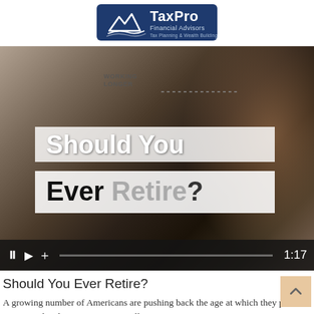[Figure (logo): TaxPro Financial Advisors logo — dark blue shield with mountain/wave mark and white text]
[Figure (screenshot): Video player screenshot showing smartphone screen with 'WORKING LONGER' text and overlaid title 'Should You Ever Retire?' with video controls showing pause, play, plus icons, progress bar, and time 1:17]
Should You Ever Retire?
A growing number of Americans are pushing back the age at which they plan to retire. Or deciding not to retire at all.